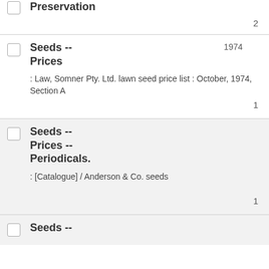Preservation — 2
Seeds -- Prices 1974 : Law, Somner Pty. Ltd. lawn seed price list : October, 1974, Section A — 1
Seeds -- Prices -- Periodicals. : [Catalogue] / Anderson & Co. seeds — 1
Seeds --